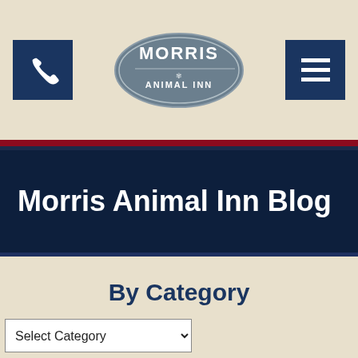[Figure (logo): Morris Animal Inn logo — oval with text MORRIS ANIMAL INN, with phone icon button on left and hamburger menu button on right]
Morris Animal Inn Blog
By Category
Select Category (dropdown)
By Month